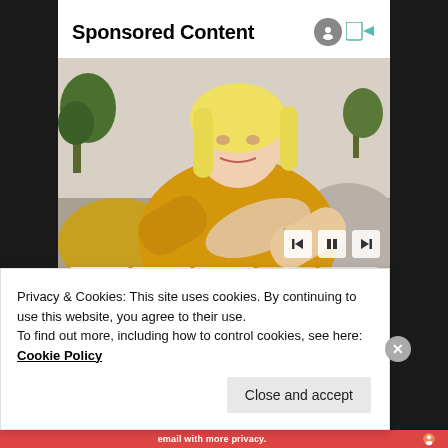Sponsored Content
[Figure (photo): A blonde woman in a yellow knit sweater looking down at her arm/elbow with a concerned expression, sitting on a couch. Video player controls visible at bottom of image.]
Privacy & Cookies: This site uses cookies. By continuing to use this website, you agree to their use.
To find out more, including how to control cookies, see here: Cookie Policy
Close and accept